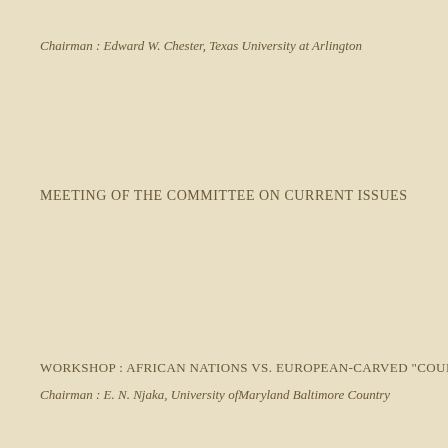Chairman : Edward W. Chester, Texas University at Arlington
MEETING OF THE COMMITTEE ON CURRENT ISSUES
WORKSHOP : AFRICAN NATIONS VS. EUROPEAN-CARVED "COUNTR
Chairman : E. N. Njaka, University ofMaryland Baltimore Country